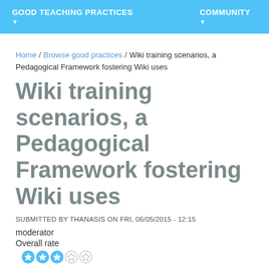GOOD TEACHING PRACTICES  |  COMMUNITY
Home / Browse good practices / Wiki training scenarios, a Pedagogical Framework fostering Wiki uses
Wiki training scenarios, a Pedagogical Framework fostering Wiki uses
SUBMITTED BY THANASIS ON FRI, 06/05/2015 - 12:15
moderator
Overall rate
| Rate |  |
| --- | --- |
| Rate | ★★★☆☆ |
|  | Transferability | Adaptability | Innovation |